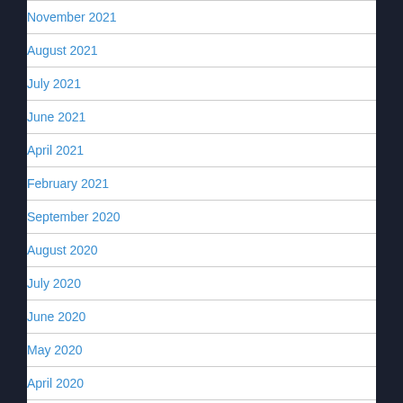November 2021
August 2021
July 2021
June 2021
April 2021
February 2021
September 2020
August 2020
July 2020
June 2020
May 2020
April 2020
March 2020
February 2020
January 2020